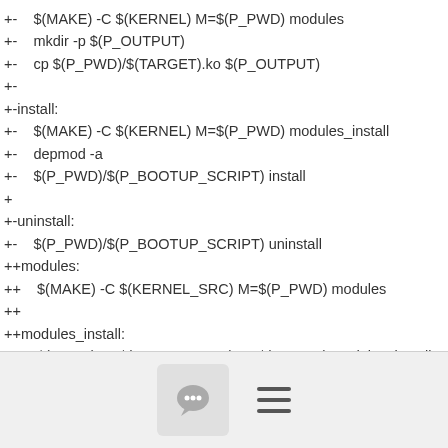+-    $(MAKE) -C $(KERNEL) M=$(P_PWD) modules
+-    mkdir -p $(P_OUTPUT)
+-    cp $(P_PWD)/$(TARGET).ko $(P_OUTPUT)
+-
+-install:
+-    $(MAKE) -C $(KERNEL) M=$(P_PWD) modules_install
+-    depmod -a
+-    $(P_PWD)/$(P_BOOTUP_SCRIPT) install
+
+-uninstall:
+-    $(P_PWD)/$(P_BOOTUP_SCRIPT) uninstall
++modules:
++    $(MAKE) -C $(KERNEL_SRC) M=$(P_PWD) modules
++
++modules_install:
++    $(MAKE) -C $(KERNEL_SRC) M=$(P_PWD) modules_install
+
+ clean:
[Figure (other): Footer bar with a chat bubble icon button and a hamburger menu icon]